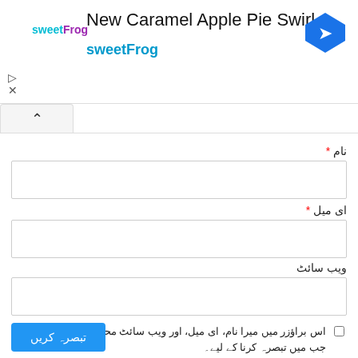[Figure (screenshot): Advertisement banner for sweetFrog 'New Caramel Apple Pie Swirl' with logo, title, navigation arrow icon, and playback/close controls]
نام *
ای میل *
ویب سائٹ
اس براؤزر میں میرا نام، ای میل، اور ویب سائٹ محفوظ رکھیں اگلی بار جب میں تبصرہ کرنا کے لیے۔
تبصرہ کریں